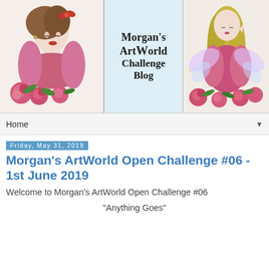[Figure (illustration): Morgan's ArtWorld Challenge Blog banner with three panels: left panel shows a pencil-drawn woman with roses, center panel shows the text logo 'Morgan's ArtWorld Challenge Blog', right panel shows a fairy with long blonde hair and pink roses.]
Home ▼
Friday, May 31, 2019
Morgan's ArtWorld Open Challenge #06 - 1st June 2019
Welcome to Morgan's ArtWorld Open Challenge #06
"Anything Goes"